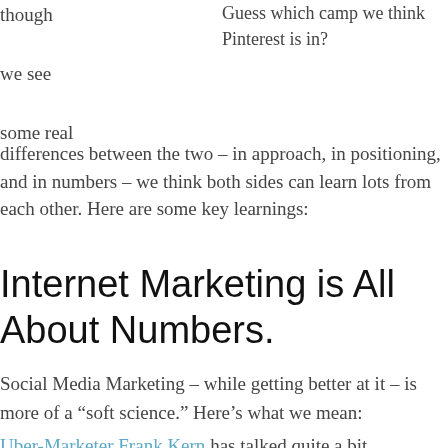though

we see

some real
Guess which camp we think Pinterest is in?
differences between the two – in approach, in positioning, and in numbers – we think both sides can learn lots from each other. Here are some key learnings:
Internet Marketing is All About Numbers.
Social Media Marketing – while getting better at it – is more of a “soft science.” Here’s what we mean:
Uber-Marketer Frank Kern has talked quite a bit